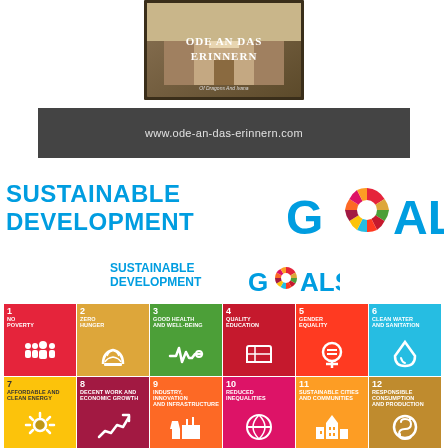[Figure (photo): Book cover showing 'ODE AN DAS ERINNERN' by Of Dragons And Ивана, sepia-toned image of a building]
[Figure (other): Dark grey banner with text: www.ode-an-das-erinnern.com]
[Figure (logo): UN Sustainable Development Goals logo (large) showing SUSTAINABLE DEVELOPMENT GOALS text in blue with colorful wheel replacing the O in GOALS]
[Figure (logo): UN Sustainable Development Goals logo (small) showing SUSTAINABLE DEVELOPMENT GOALS text in blue with colorful wheel]
[Figure (infographic): SDG icon tiles grid showing goals 1-12: 1 No Poverty (red), 2 Zero Hunger (gold), 3 Good Health and Well-Being (green), 4 Quality Education (red), 5 Gender Equality (red), 6 Clean Water and Sanitation (cyan), 7 Affordable and Clean Energy (yellow), 8 Decent Work and Economic Growth (dark red), 9 Industry Innovation and Infrastructure (orange), 10 Reduced Inequalities (pink/magenta), 11 Sustainable Cities and Communities (orange), 12 Responsible Consumption and Production (dark gold)]